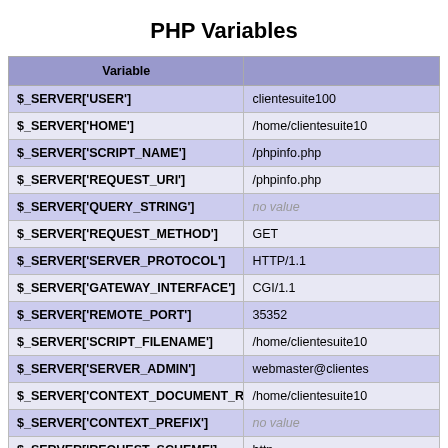PHP Variables
| Variable |  |
| --- | --- |
| $_SERVER['USER'] | clientesuite100 |
| $_SERVER['HOME'] | /home/clientesuite10 |
| $_SERVER['SCRIPT_NAME'] | /phpinfo.php |
| $_SERVER['REQUEST_URI'] | /phpinfo.php |
| $_SERVER['QUERY_STRING'] | no value |
| $_SERVER['REQUEST_METHOD'] | GET |
| $_SERVER['SERVER_PROTOCOL'] | HTTP/1.1 |
| $_SERVER['GATEWAY_INTERFACE'] | CGI/1.1 |
| $_SERVER['REMOTE_PORT'] | 35352 |
| $_SERVER['SCRIPT_FILENAME'] | /home/clientesuite10 |
| $_SERVER['SERVER_ADMIN'] | webmaster@clientes |
| $_SERVER['CONTEXT_DOCUMENT_ROOT'] | /home/clientesuite10 |
| $_SERVER['CONTEXT_PREFIX'] | no value |
| $_SERVER['REQUEST_SCHEME'] | http |
| $_SERVER['DOCUMENT_ROOT'] | /home/clientesuite10 |
| $_SERVER['REMOTE_ADDR'] | 44.207.124.84 |